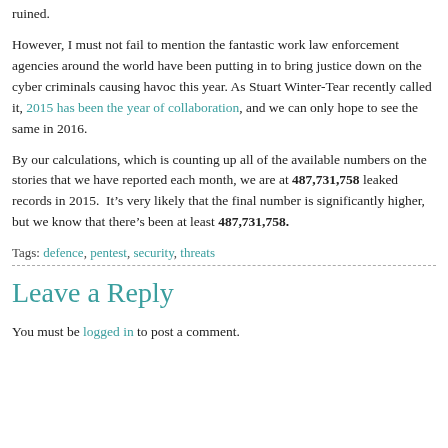ruined.
However, I must not fail to mention the fantastic work law enforcement agencies around the world have been putting in to bring justice down on the cyber criminals causing havoc this year. As Stuart Winter-Tear recently called it, 2015 has been the year of collaboration, and we can only hope to see the same in 2016.
By our calculations, which is counting up all of the available numbers on the stories that we have reported each month, we are at 487,731,758 leaked records in 2015.  It’s very likely that the final number is significantly higher, but we know that there’s been at least 487,731,758.
Tags: defence, pentest, security, threats
Leave a Reply
You must be logged in to post a comment.